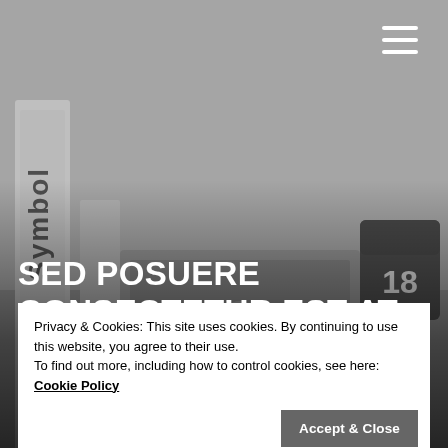[Figure (photo): Grayscale background photo of a desk scene with a book spine reading 'Symbol', a laptop, and a dark calendar block showing '18']
SED POSUERE CONSECTETUR EST AT LOBORTIS
Privacy & Cookies: This site uses cookies. By continuing to use this website, you agree to their use.
To find out more, including how to control cookies, see here: Cookie Policy
This is some dummy copy. You're not really supposed to read this dummy copy, it is just a place holder for people who need some type to visualize what the